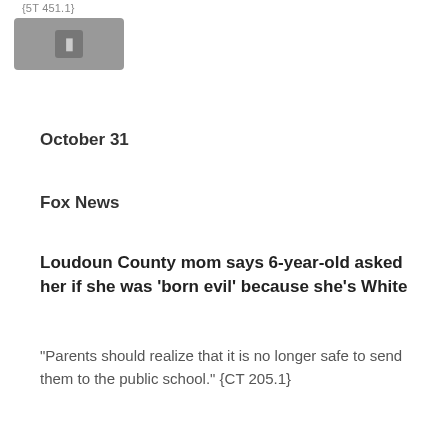{5T 451.1}
[Figure (other): Gray rounded rectangle button/icon box with a small darker gray square icon in the center]
October 31
Fox News
Loudoun County mom says 6-year-old asked her if she was 'born evil' because she's White
"Parents should realize that it is no longer safe to send them to the public school." {CT 205.1}